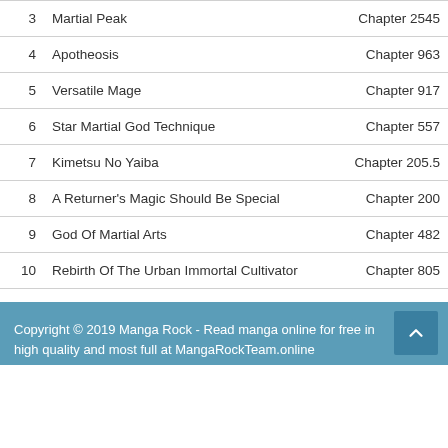3  Martial Peak  Chapter 2545
4  Apotheosis  Chapter 963
5  Versatile Mage  Chapter 917
6  Star Martial God Technique  Chapter 557
7  Kimetsu No Yaiba  Chapter 205.5
8  A Returner's Magic Should Be Special  Chapter 200
9  God Of Martial Arts  Chapter 482
10  Rebirth Of The Urban Immortal Cultivator  Chapter 805
More
Copyright © 2019 Manga Rock - Read manga online for free in high quality and most full at MangaRockTeam.online